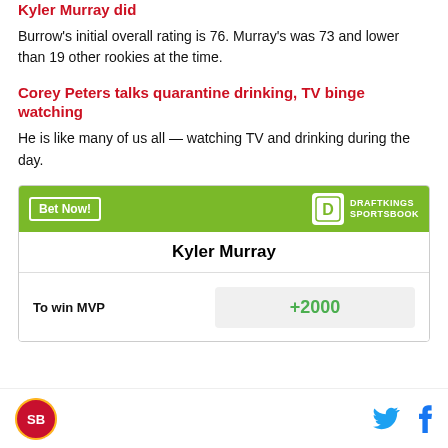Kyler Murray did
Burrow's initial overall rating is 76. Murray's was 73 and lower than 19 other rookies at the time.
Corey Peters talks quarantine drinking, TV binge watching
He is like many of us all — watching TV and drinking during the day.
|  | Kyler Murray |
| --- | --- |
| To win MVP | +2000 |